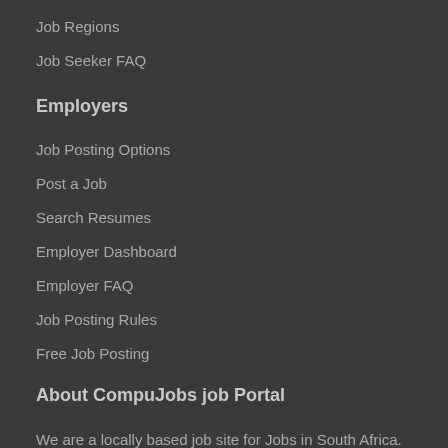Job Regions
Job Seeker FAQ
Employers
Job Posting Options
Post a Job
Search Resumes
Employer Dashboard
Employer FAQ
Job Posting Rules
Free Job Posting
About CompuJobs job Portal
We are a locally based job site for Jobs in South Africa. The CompuJobs job portal is your all in one